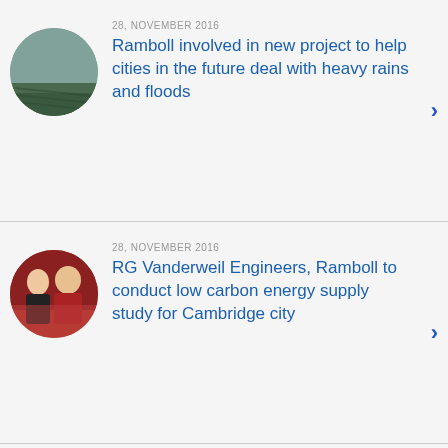[Figure (photo): Circular thumbnail showing aerial view of rows of trees or crops, misty landscape]
28, NOVEMBER 2016
Ramboll involved in new project to help cities in the future deal with heavy rains and floods
[Figure (photo): Circular thumbnail showing two men in formal attire shaking hands or posing at an event]
28, NOVEMBER 2016
RG Vanderweil Engineers, Ramboll to conduct low carbon energy supply study for Cambridge city
[Figure (photo): Circular thumbnail showing a dark landscape, possibly a road or building scene]
2, SEPTEMBER 2016
Ramboll will help build